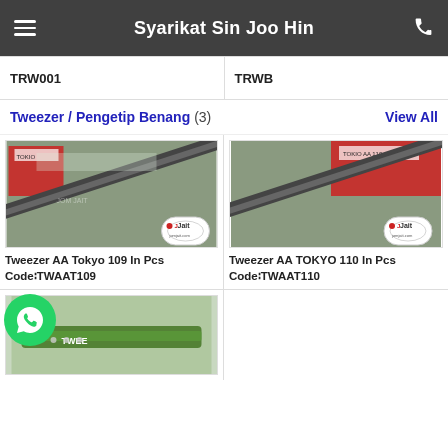Syarikat Sin Joo Hin
TRW001
TRWB
Tweezer / Pengetip Benang (3)  View All
[Figure (photo): Product image of Tweezer AA Tokyo 109 In Pcs with Jait logo badge]
Tweezer AA Tokyo 109 In Pcs Code∶TWAAT109
[Figure (photo): Product image of Tweezer AA TOKYO 110 In Pcs with Jait logo badge]
Tweezer AA TOKYO 110 In Pcs Code∶TWAAT110
[Figure (photo): Partial product image at bottom left with WhatsApp floating button overlay]